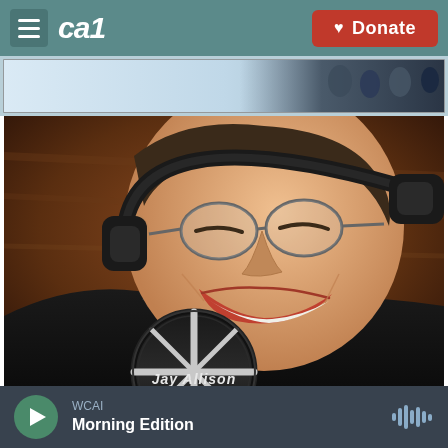CAI — Donate
[Figure (photo): Partial banner/advertisement image at top of page showing people outdoors]
[Figure (photo): Close-up photo of Jay Allison, a man wearing headphones and glasses, smiling, in front of a large studio microphone labeled Jay Allison]
WCAI Morning Edition — audio player bar with play button and waveform icon